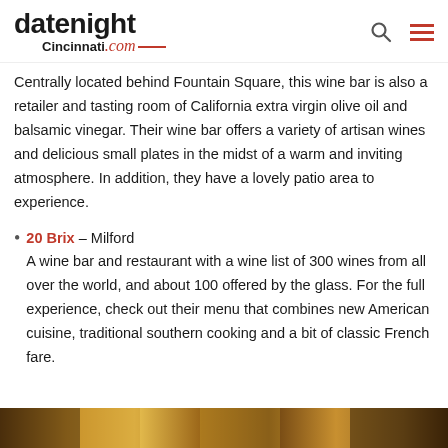datenightCincinnati.com
Centrally located behind Fountain Square, this wine bar is also a retailer and tasting room of California extra virgin olive oil and balsamic vinegar. Their wine bar offers a variety of artisan wines and delicious small plates in the midst of a warm and inviting atmosphere. In addition, they have a lovely patio area to experience.
20 Brix – Milford
A wine bar and restaurant with a wine list of 300 wines from all over the world, and about 100 offered by the glass. For the full experience, check out their menu that combines new American cuisine, traditional southern cooking and a bit of classic French fare.
[Figure (photo): Bottom strip showing food/drink photo]